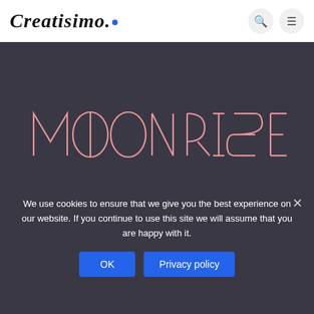Creatisimo.
[Figure (logo): MOONRISE decorative font logo in salmon/pink color on dark background #3a3845]
We use cookies to ensure that we give you the best experience on our website. If you continue to use this site we will assume that you are happy with it.
OK  Privacy policy